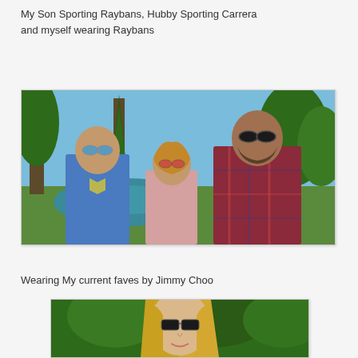My Son Sporting Raybans, Hubby Sporting Carrera and myself wearing Raybans
[Figure (photo): Three people wearing sunglasses outdoors in a park setting near a pond with trees in background. Son wearing blue Superman t-shirt and aviator Raybans, woman in middle wearing red-tinted Raybans, man on right wearing plaid shirt and dark Carreras.]
Wearing My current faves by Jimmy Choo
[Figure (photo): Close-up portrait of a blonde woman outdoors with green trees in background, wearing Jimmy Choo sunglasses.]